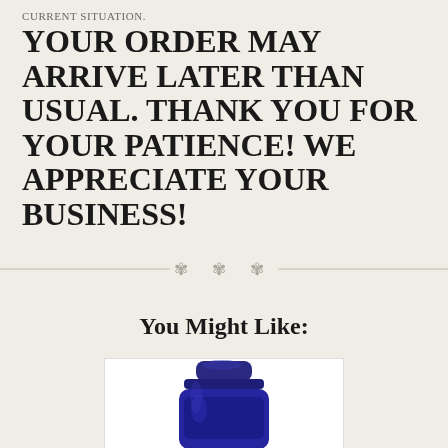CURRENT SITUATION.
YOUR ORDER MAY ARRIVE LATER THAN USUAL. THANK YOU FOR YOUR PATIENCE! WE APPRECIATE YOUR BUSINESS!
[Figure (illustration): Decorative ornament divider with three floral/snowflake symbols between horizontal lines]
You Might Like:
[Figure (photo): Blue supplement bottle with dark blue lid, partially cropped at bottom of page]